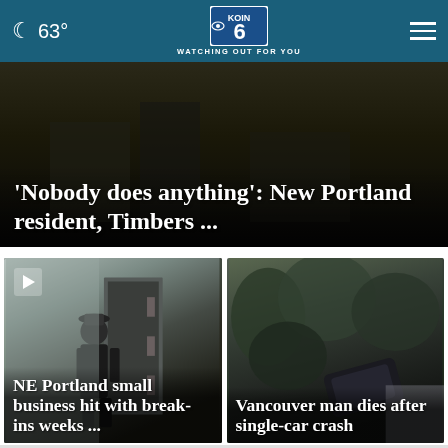🌙 63° | KOIN 6 — WATCHING OUT FOR YOU
[Figure (screenshot): Dark hero image of a Portland street scene at night]
'Nobody does anything': New Portland resident, Timbers ...
[Figure (screenshot): Security camera footage of a person near a door — NE Portland small business break-in story]
NE Portland small business hit with break-ins weeks ...
[Figure (photo): Aerial photo of a car crash in vegetation — Vancouver man dies after single-car crash]
Vancouver man dies after single-car crash